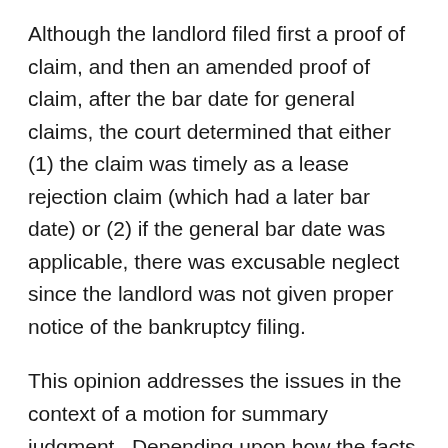Although the landlord filed first a proof of claim, and then an amended proof of claim, after the bar date for general claims, the court determined that either (1) the claim was timely as a lease rejection claim (which had a later bar date) or (2) if the general bar date was applicable, there was excusable neglect since the landlord was not given proper notice of the bankruptcy filing.
This opinion addresses the issues in the context of a motion for summary judgment.  Depending upon how the facts develop, ultimately each of these issues might go either way.  However, as a practical matter, they suggest that (1) if you want to exercise an option to extend or terminate a lease, you would be well advised to clearly communicate the election in accordance with lease requirements, and (2) as noted in a prior blog (Leases: Is Rejection the Same as Termination and Who is the Tenant…